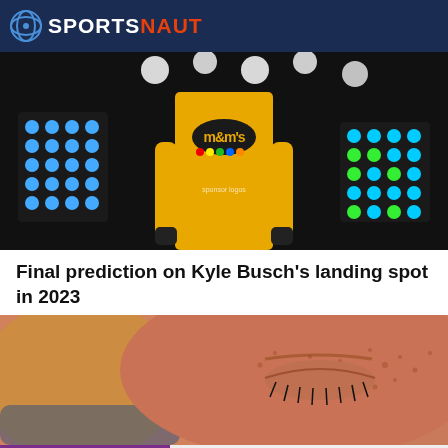SPORTSNAUT
[Figure (photo): NASCAR driver in yellow M&M's racing suit standing under stage lights]
Final prediction on Kyle Busch's landing spot in 2023
[Figure (photo): Close-up of a woman's face with closed eyes and freckles]
Sportsnaut logo and social media icons: Facebook, Twitter, LinkedIn, Instagram, YouTube